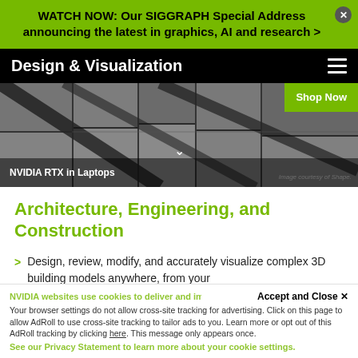WATCH NOW: Our SIGGRAPH Special Address announcing the latest in graphics, AI and research >
Design & Visualization
[Figure (screenshot): Architectural rendering of a building with geometric panels, with NVIDIA RTX in Laptops label and Shop Now button overlay]
Architecture, Engineering, and Construction
Design, review, modify, and accurately visualize complex 3D building models anywhere, from your
NVIDIA websites use cookies to deliver and improve the website experience.
Accept and Close ✕
Your browser settings do not allow cross-site tracking for advertising. Click on this page to allow AdRoll to use cross-site tracking to tailor ads to you. Learn more or opt out of this AdRoll tracking by clicking here. This message only appears once.
See our Privacy Statement to learn more about your cookie settings.